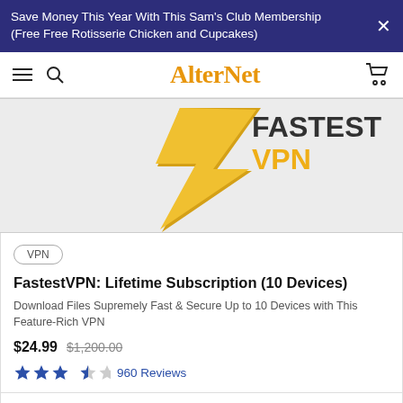Save Money This Year With This Sam's Club Membership (Free Free Rotisserie Chicken and Cupcakes)
[Figure (logo): AlterNet website navigation bar with hamburger menu, search icon, AlterNet logo in orange serif font, and cart icon]
[Figure (illustration): Partial product image showing a yellow/gold lightning bolt or arrow shape on a light gray background, with dark text partially visible]
VPN
FastestVPN: Lifetime Subscription (10 Devices)
Download Files Supremely Fast & Secure Up to 10 Devices with This Feature-Rich VPN
$24.99  $1,200.00
960 Reviews